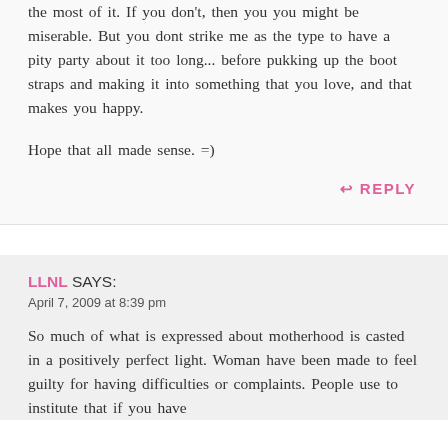the most of it. If you don't, then you you might be miserable. But you dont strike me as the type to have a pity party about it too long... before pukking up the boot straps and making it into something that you love, and that makes you happy.
Hope that all made sense. =)
↩ REPLY
LLNL SAYS:
April 7, 2009 at 8:39 pm
So much of what is expressed about motherhood is casted in a positively perfect light. Woman have been made to feel guilty for having difficulties or complaints. People use to institute that if you have